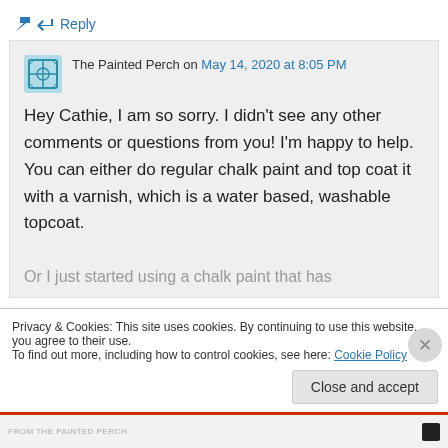↪ Reply
The Painted Perch on May 14, 2020 at 8:05 PM
Hey Cathie, I am so sorry. I didn't see any other comments or questions from you! I'm happy to help. You can either do regular chalk paint and top coat it with a varnish, which is a water based, washable topcoat. Or I just started using a chalk paint that has
Privacy & Cookies: This site uses cookies. By continuing to use this website, you agree to their use.
To find out more, including how to control cookies, see here: Cookie Policy
Close and accept